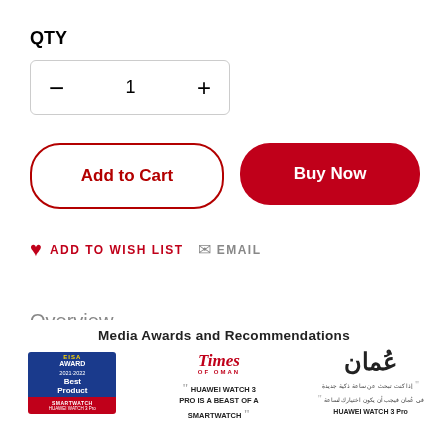QTY
[Figure (other): Quantity selector control with minus button, number 1, and plus button]
[Figure (other): Add to Cart button (outlined red) and Buy Now button (solid red)]
[Figure (other): Add to Wish List icon and text, and Email icon and text]
Overview
[Figure (other): Scroll to top button with upward arrow]
Media Awards and Recommendations
[Figure (other): EISA Best Product Smartwatch award badge]
[Figure (other): Times of Oman logo with quote: HUAWEI WATCH 3 PRO IS A BEAST OF A SMARTWATCH]
[Figure (other): Oman Arabic newspaper logo with Arabic quote about HUAWEI WATCH 3 Pro]